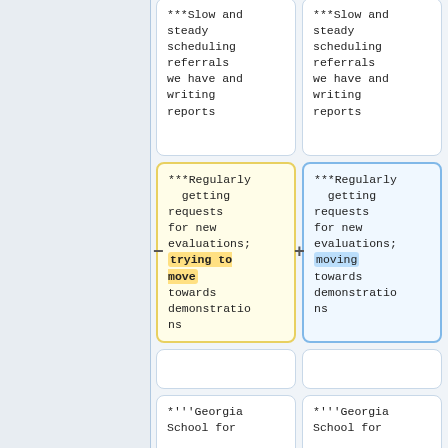***Slow and steady scheduling referrals we have and writing reports
***Slow and steady scheduling referrals we have and writing reports
***Regularly getting requests for new evaluations; trying to move towards demonstrations
***Regularly getting requests for new evaluations; moving towards demonstrations
*'''Georgia School for
*'''Georgia School for